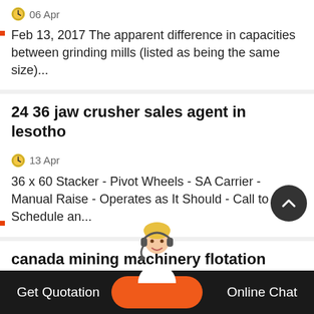06 Apr
Feb 13, 2017 The apparent difference in capacities between grinding mills (listed as being the same size)...
24 36 jaw crusher sales agent in lesotho
13 Apr
36 x 60 Stacker - Pivot Wheels - SA Carrier - Manual Raise - Operates as It Should - Call to Schedule an...
canada mining machinery flotation
Get Quotation   Online Chat